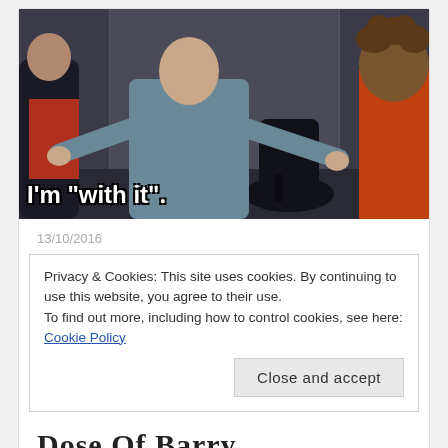[Figure (photo): Movie still showing a bald man in a grey suit with arms spread wide, and a person in an orange shirt viewed from behind. White subtitle text reads: I'm "with it".]
13/10/2016
Privacy & Cookies: This site uses cookies. By continuing to use this website, you agree to their use.
To find out more, including how to control cookies, see here: Cookie Policy
Close and accept
Dose Of Barry.